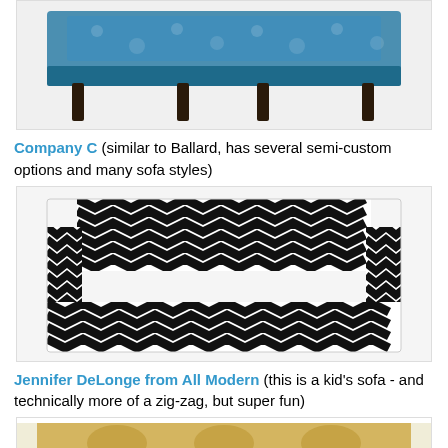[Figure (photo): Top portion of a blue patterned sofa with dark legs, cropped at top]
Company C (similar to Ballard, has several semi-custom options and many sofa styles)
[Figure (photo): Black and white chevron/zig-zag patterned sofa from Company C]
Jennifer DeLonge from All Modern (this is a kid's sofa - and technically more of a zig-zag, but super fun)
[Figure (photo): Bottom portion of a yellow/gold patterned sofa, partially visible]